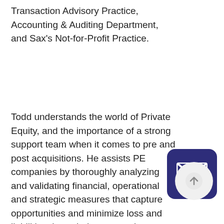Transaction Advisory Practice, Accounting & Auditing Department, and Sax's Not-for-Profit Practice.
Todd understands the world of Private Equity, and the importance of a strong support team when it comes to pre and post acquisitions. He assists PE companies by thoroughly analyzing and validating financial, operational and strategic measures that capture opportunities and minimize loss and liabilities through the transaction process. He counsels clients on deal
[Figure (illustration): Dark navy blue rounded square icon containing a white envelope/email symbol]
[Figure (illustration): Light grey circle with an upward-pointing arrow icon, representing scroll-to-top button]